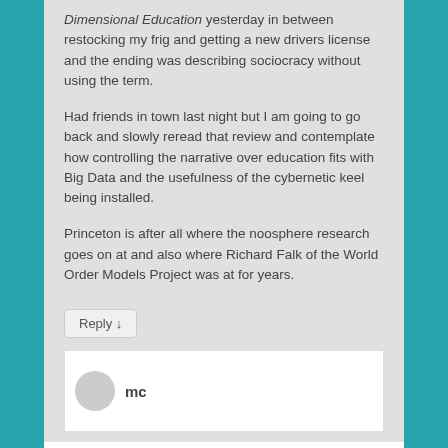Dimensional Education yesterday in between restocking my frig and getting a new drivers license and the ending was describing sociocracy without using the term.
Had friends in town last night but I am going to go back and slowly reread that review and contemplate how controlling the narrative over education fits with Big Data and the usefulness of the cybernetic keel being installed.
Princeton is after all where the noosphere research goes on at and also where Richard Falk of the World Order Models Project was at for years.
Reply ↓